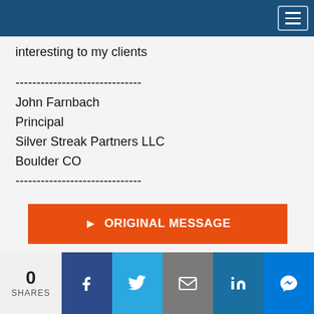interesting to my clients
------------------------------
John Farnbach
Principal
Silver Streak Partners LLC
Boulder CO
------------------------------
▶ ORIGINAL MESSAGE
0 SHARES [Facebook] [Twitter] [Email] [LinkedIn] [Messenger]